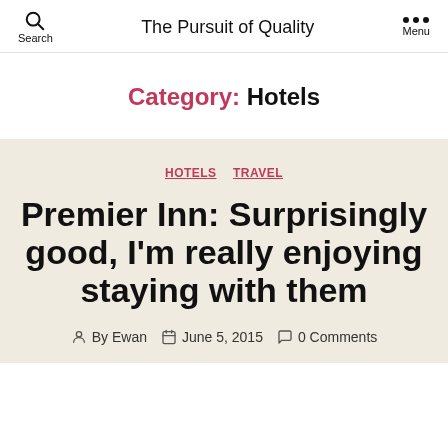The Pursuit of Quality
Category: Hotels
HOTELS  TRAVEL
Premier Inn: Surprisingly good, I'm really enjoying staying with them
By Ewan  June 5, 2015  0 Comments